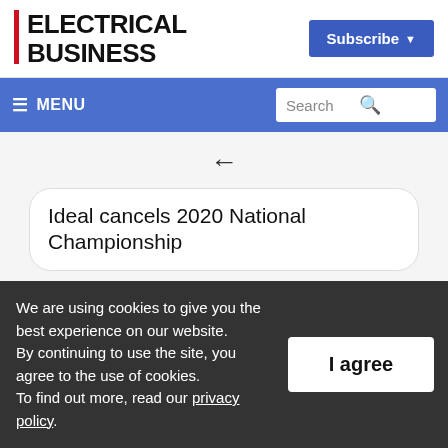ELECTRICAL BUSINESS
Subscribe ▼
≡ MENU | Search
←
Ideal cancels 2020 National Championship
Helping low-income electricity customers is
We are using cookies to give you the best experience on our website. By continuing to use the site, you agree to the use of cookies. To find out more, read our privacy policy.